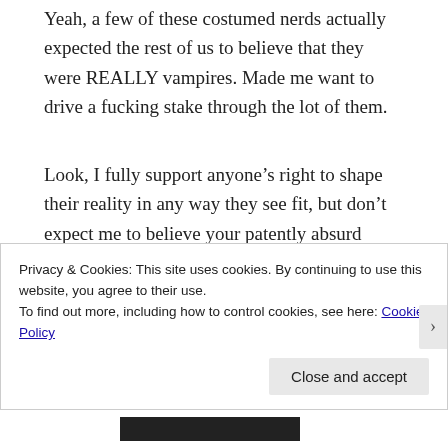Yeah, a few of these costumed nerds actually expected the rest of us to believe that they were REALLY vampires. Made me want to drive a fucking stake through the lot of them.
Look, I fully support anyone’s right to shape their reality in any way they see fit, but don’t expect me to believe your patently absurd bullshit. There are even a few of these nouveau vamps that see their fake undead status as a “religion” of sorts, and who see it
Privacy & Cookies: This site uses cookies. By continuing to use this website, you agree to their use.
To find out more, including how to control cookies, see here: Cookie Policy